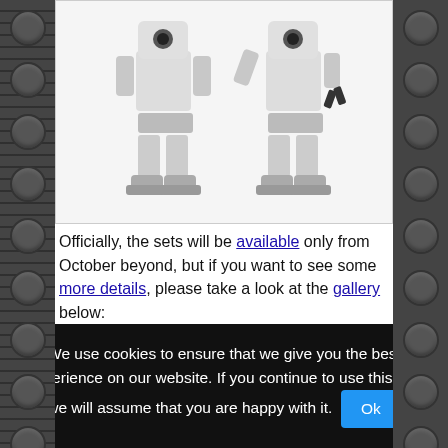[Figure (photo): Two white LEGO robot figures shown from the bottom portion, with grey feet/legs, displayed against a white background inside a bordered image box]
Officially, the sets will be available only from October beyond, but if you want to see some more details, please take a look at the gallery below:
[Figure (photo): LEGO Friends Advent Calendar box product photo showing a purple/pink box with Christmas tree scene and Friends characters]
[Figure (photo): Partial view of another LEGO set product image, only top portion visible with a star visible]
We use cookies to ensure that we give you the best experience on our website. If you continue to use this site we will assume that you are happy with it.